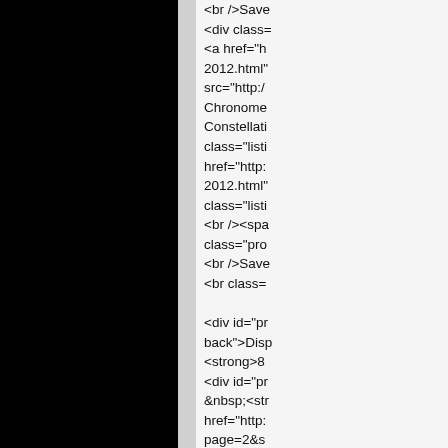[Figure (other): Left portion of the page is a solid black rectangle taking up roughly 40% of the width.]
<br />Save
<div class=
<a href="h
2012.html"
src="http://
Chronome
Constellati
class="listi
href="http:
2012.html"
class="listi
<br /><spa
class="pro
<br />Save
<br class=

<div id="pr
back">Disp
<strong>8
<div id="pr
&nbsp;<str
href="http:
page=2&s